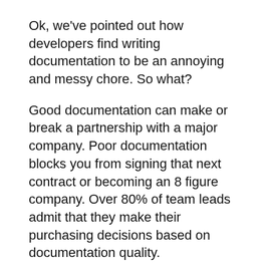Ok, we've pointed out how developers find writing documentation to be an annoying and messy chore. So what?
Good documentation can make or break a partnership with a major company. Poor documentation blocks you from signing that next contract or becoming an 8 figure company. Over 80% of team leads admit that they make their purchasing decisions based on documentation quality.
You can't skimp on quality documentation. What does good documentation look like?
Good documentation doesn't forget